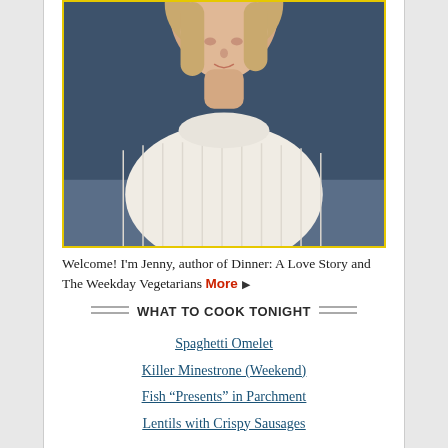[Figure (photo): Headshot of a woman with blonde bob haircut wearing a white ribbed sweater, photographed against a dark blue background]
Welcome! I'm Jenny, author of Dinner: A Love Story and The Weekday Vegetarians More ▶
WHAT TO COOK TONIGHT
Spaghetti Omelet
Killer Minestrone (Weekend)
Fish "Presents" in Parchment
Lentils with Crispy Sausages